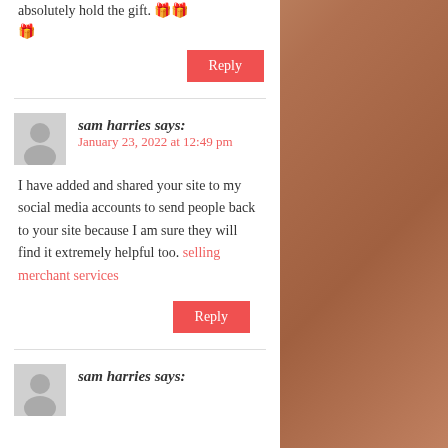absolutely hold the gift. 🎁🎁
Reply
sam harries says: January 23, 2022 at 12:49 pm
I have added and shared your site to my social media accounts to send people back to your site because I am sure they will find it extremely helpful too. selling merchant services
Reply
sam harries says: